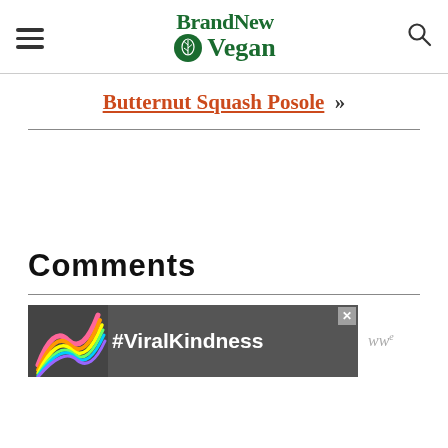BrandNew Vegan
Butternut Squash Posole »
Comments
[Figure (photo): #ViralKindness advertisement banner with rainbow illustration on dark background]